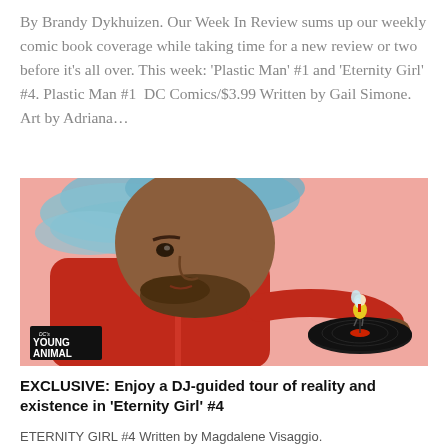By Brandy Dykhuizen. Our Week In Review sums up our weekly comic book coverage while taking time for a new review or two before it's all over. This week: 'Plastic Man' #1 and 'Eternity Girl' #4. Plastic Man #1 DC Comics/$3.99 Written by Gail Simone. Art by Adriana…
[Figure (illustration): Comic book illustration showing a large bearded man in a red jacket looking down at a tiny white-haired figure in a yellow dress standing on a vinyl record he holds in his hand. Blue cloud/smoke emanates from his head. Pink background. DC's Young Animal logo in lower left.]
EXCLUSIVE: Enjoy a DJ-guided tour of reality and existence in 'Eternity Girl' #4
ETERNITY GIRL #4 Written by Magdalene Visaggio.